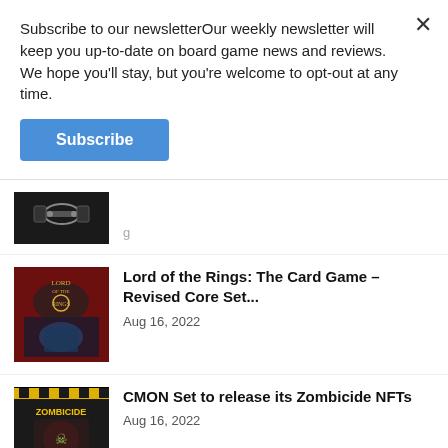Subscribe to our newsletterOur weekly newsletter will keep you up-to-date on board game news and reviews. We hope you'll stay, but you're welcome to opt-out at any time.
Subscribe
[Figure (photo): Partially visible dark board game box thumbnail at top of article list]
Lord of the Rings: The Card Game – Revised Core Set...
Aug 16, 2022
CMON Set to release its Zombicide NFTs
Aug 16, 2022
Kickstarters of the Week: 8/15
Aug 15, 2022